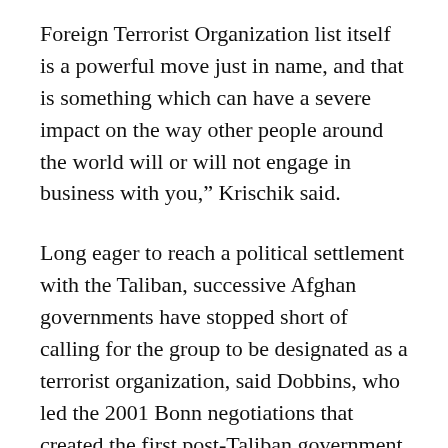Foreign Terrorist Organization list itself is a powerful move just in name, and that is something which can have a severe impact on the way other people around the world will or will not engage in business with you,” Krischik said.
Long eager to reach a political settlement with the Taliban, successive Afghan governments have stopped short of calling for the group to be designated as a terrorist organization, said Dobbins, who led the 2001 Bonn negotiations that created the first post-Taliban government in Afghanistan.
“If the U.S. was seriously proposing to do it, my